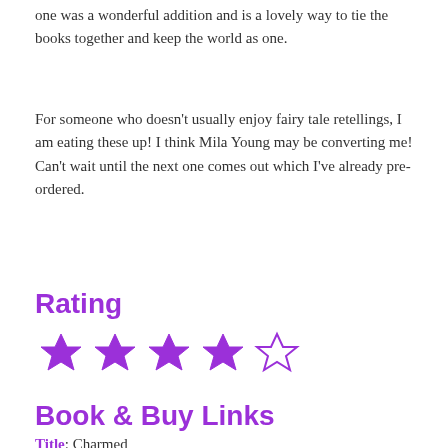one was a wonderful addition and is a lovely way to tie the books together and keep the world as one.
For someone who doesn't usually enjoy fairy tale retellings, I am eating these up! I think Mila Young may be converting me! Can't wait until the next one comes out which I've already pre-ordered.
Rating
[Figure (other): 4 out of 5 stars rating displayed as purple Star of David style stars, 4 filled and 1 outlined]
Book & Buy Links
Title: Charmed
Series: Haven Realm #2